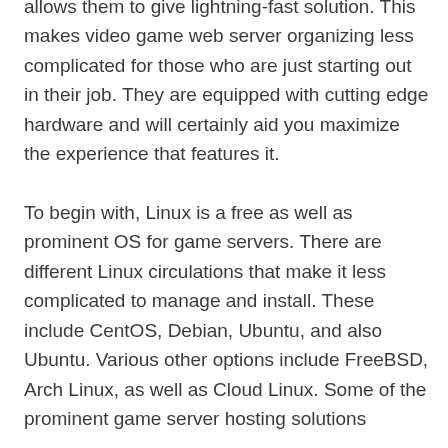allows them to give lightning-fast solution. This makes video game web server organizing less complicated for those who are just starting out in their job. They are equipped with cutting edge hardware and will certainly aid you maximize the experience that features it.
To begin with, Linux is a free as well as prominent OS for game servers. There are different Linux circulations that make it less complicated to manage and install. These include CentOS, Debian, Ubuntu, and also Ubuntu. Various other options include FreeBSD, Arch Linux, as well as Cloud Linux. Some of the prominent game server hosting solutions